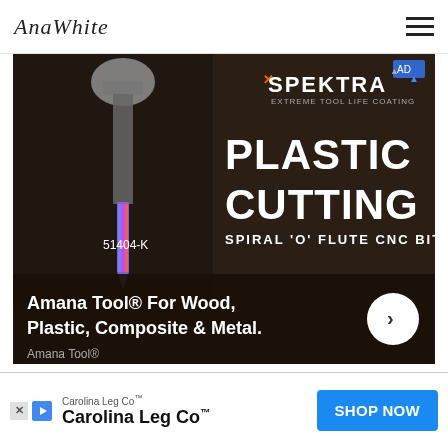AnaWhite
[Figure (photo): Advertisement for Amana Tool / SPEKTRA Extreme Tool Life Coating showing a spiral CNC bit with text: PLASTIC CUTTING, SPIRAL 'O' FLUTE CNC BITS, 51404-K. Bottom text: Amana Tool® For Wood, Plastic, Composite & Metal. Amana Tool®]
STEP 2
[Figure (screenshot): Advertisement banner for Carolina Leg Co™ with SHOP NOW button]